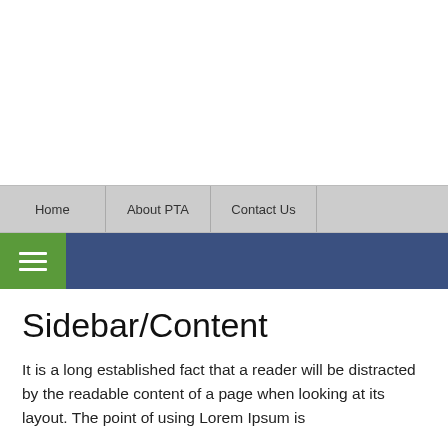Home | About PTA | Contact Us
Sidebar/Content
It is a long established fact that a reader will be distracted by the readable content of a page when looking at its layout. The point of using Lorem Ipsum is